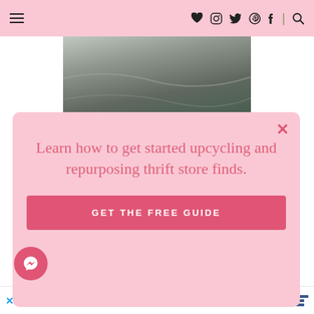Navigation bar with hamburger menu, heart, instagram, twitter, pinterest, facebook, and search icons
[Figure (photo): Partial photo of a grey/green fabric or cloth surface, slightly rumpled]
Learn how to get started upcycling and repurposing thrift store finds.
GET THE FREE GUIDE
Health & Wellness Today (advertisement bar)